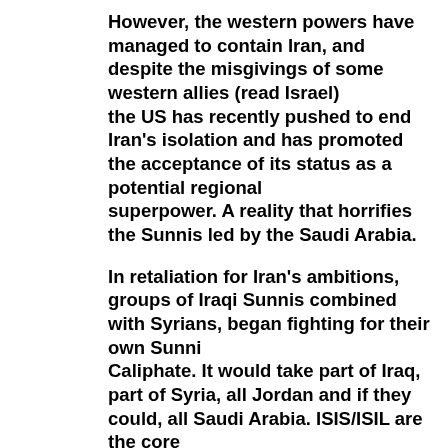However, the western powers have managed to contain Iran, and despite the misgivings of some western allies (read Israel) the US has recently pushed to end Iran's isolation and has promoted the acceptance of its status as a potential regional superpower. A reality that horrifies the Sunnis led by the Saudi Arabia.
In retaliation for Iran's ambitions, groups of Iraqi Sunnis combined with Syrians, began fighting for their own Sunni Caliphate. It would take part of Iraq, part of Syria, all Jordan and if they could, all Saudi Arabia. ISIS/ISIL are the core of that movement. It is a continuation of the dreams promoted by the Saudi Osama Bin Laden and an extension of the Wahhabi movement that is so strong in religiously controlled Saudi Arabia. These Sunni extremists have shown they are a force to be reckoned with. IN Syria and Iraq, they are using